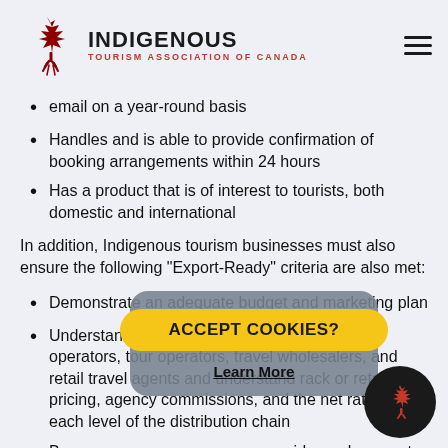INDIGENOUS TOURISM ASSOCIATION OF CANADA
email on a year-round basis
Handles and is able to provide confirmation of booking arrangements within 24 hours
Has a product that is of interest to tourists, both domestic and international
In addition, Indigenous tourism businesses must also ensure the following “Export-Ready” criteria are also met:
Demonstrate an adequate budget and marketing plan
Understand the roles played by receptive tour operators, tour operators, travel wholesalers, and retail travel agents and understand rack or retail pricing, agency commissions, and the net rates at each level of the distribution chain
Be working with receptive tour operators in markets, or be able to provide contracts wholesale to tour operators
[Figure (other): Cookie consent overlay popup with 'ACCEPT COOKIES?' yellow button and 'Learn More' link, overlaid on page content. Bottom right has floating circular Indigenous Tourism Association of Canada logo icon.]